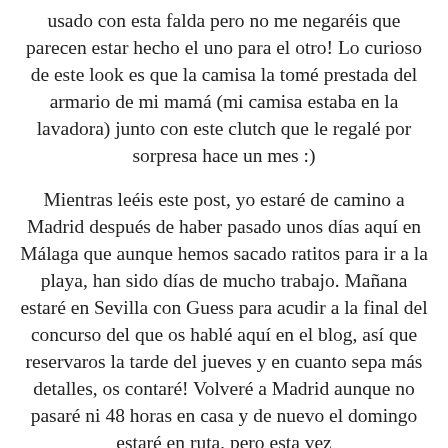usado con esta falda pero no me negaréis que parecen estar hecho el uno para el otro! Lo curioso de este look es que la camisa la tomé prestada del armario de mi mamá (mi camisa estaba en la lavadora) junto con este clutch que le regalé por sorpresa hace un mes :)
Mientras leéis este post, yo estaré de camino a Madrid después de haber pasado unos días aquí en Málaga que aunque hemos sacado ratitos para ir a la playa, han sido días de mucho trabajo. Mañana estaré en Sevilla con Guess para acudir a la final del concurso del que os hablé aquí en el blog, así que reservaros la tarde del jueves y en cuanto sepa más detalles, os contaré! Volveré a Madrid aunque no pasaré ni 48 horas en casa y de nuevo el domingo estaré en ruta, pero esta vez